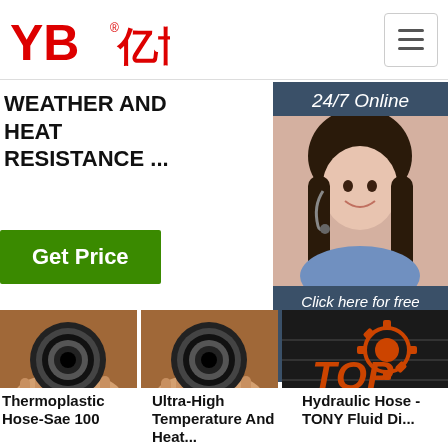[Figure (logo): YB亿博 company logo in red]
WEATHER AND HEAT RESISTANCE ...
[Figure (infographic): 24/7 Online customer service widget with agent photo and quotation button]
Get Price
[Figure (photo): Two product photos showing hydraulic hose cross-sections held in hand]
[Figure (photo): TOP icon with hydraulic hose background on the right]
Thermoplastic Hose-Sae 100
Ultra-High Temperature And Heat...
Hydraulic Hose - TONY Fluid Di...